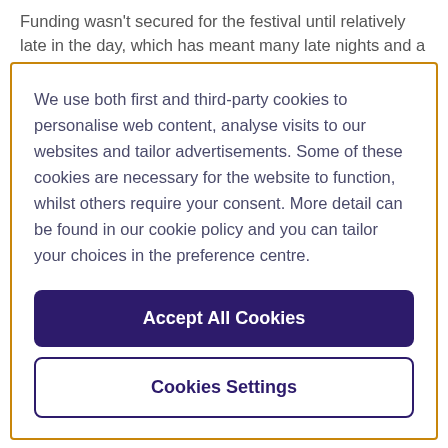Funding wasn't secured for the festival until relatively late in the day, which has meant many late nights and a lot of
We use both first and third-party cookies to personalise web content, analyse visits to our websites and tailor advertisements. Some of these cookies are necessary for the website to function, whilst others require your consent. More detail can be found in our cookie policy and you can tailor your choices in the preference centre.
Accept All Cookies
Cookies Settings